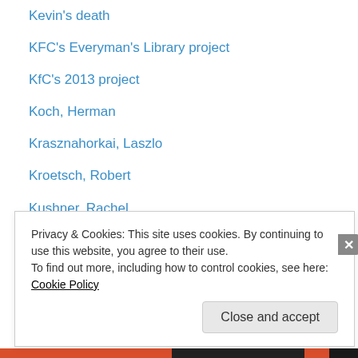Kevin's death
KFC's Everyman's Library project
KfC's 2013 project
Koch, Herman
Krasznahorkai, Laszlo
Kroetsch, Robert
Kushner, Rachel
Laferrière, Dany
Lam, Vincent
Lanchester, John
Lane, Patrick
Laurence, Margaret
le Carre, John
Leavitt, David
Privacy & Cookies: This site uses cookies. By continuing to use this website, you agree to their use.
To find out more, including how to control cookies, see here: Cookie Policy
Close and accept